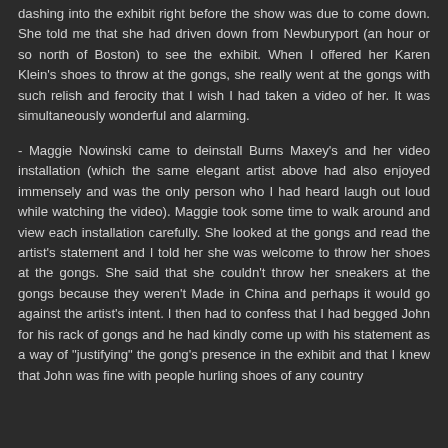dashing into the exhibit right before the show was due to come down. She told me that she had driven down from Newburyport (an hour or so north of Boston) to see the exhibit. When I offered her Karen Klein's shoes to throw at the gongs, she really went at the gongs with such relish and ferocity that I wish I had taken a video of her. It was simultaneously wonderful and alarming.
- Maggie Nowinski came to deinstall Burns Maxey's and her video installation (which the same elegant artist above had also enjoyed immensely and was the only person who I had heard laugh out loud while watching the video). Maggie took some time to walk around and view each installation carefully. She looked at the gongs and read the artist's statement and I told her she was welcome to throw her shoes at the gongs. She said that she couldn't throw her sneakers at the gongs because they weren't Made in China and perhaps it would go against the artist's intent. I then had to confess that I had begged John for his rack of gongs and he had kindly come up with his statement as a way of "justifying" the gong's presence in the exhibit and that I knew that John was fine with people hurling shoes of any country